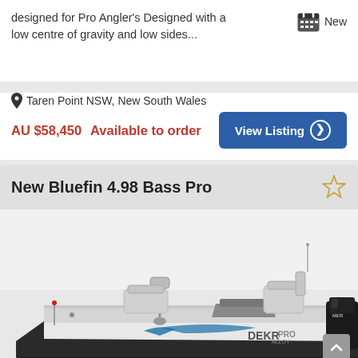designed for Pro Angler's Designed with a low centre of gravity and low sides...
New
Taren Point NSW, New South Wales
AU $58,450 Available to order
View Listing
New Bluefin 4.98 Bass Pro
[Figure (photo): Photo of a Bluefin 4.98 Bass Pro bass boat with white seats, trolling motor, and Dekra branding on the hull with outboard motor visible on the right]